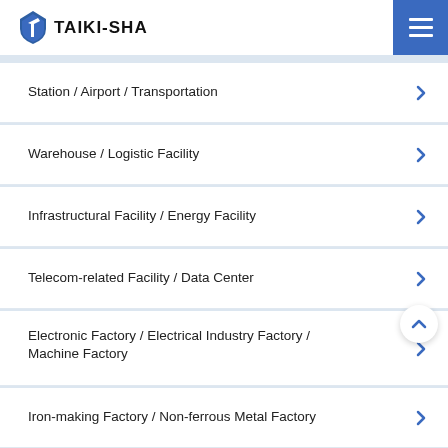TAIKI-SHA
Station / Airport / Transportation
Warehouse / Logistic Facility
Infrastructural Facility / Energy Facility
Telecom-related Facility / Data Center
Electronic Factory / Electrical Industry Factory / Machine Factory
Iron-making Factory / Non-ferrous Metal Factory